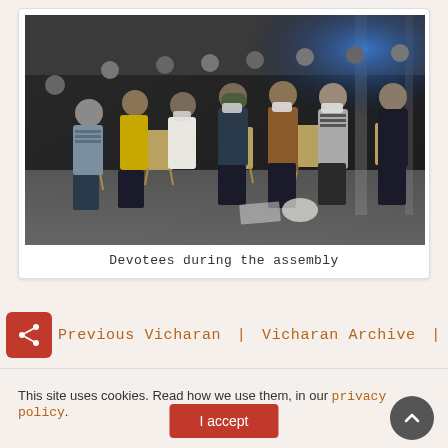[Figure (photo): Photograph of a large gathering of devotees seated on chairs in a hall, many wearing face masks, attendees watching an event or assembly.]
Devotees during the assembly
Previous Vicharan | Vicharan Archive | Next Vicharan
This site uses cookies. Read how we use them, in our privacy policy.
I accept